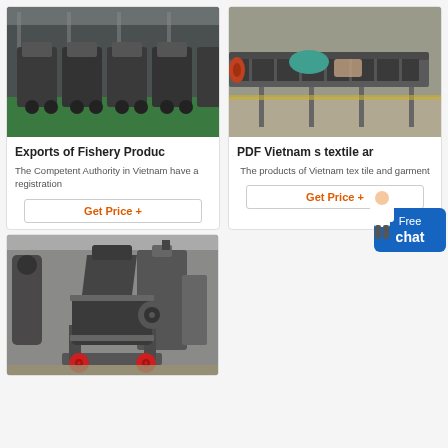[Figure (photo): Industrial machinery in a factory warehouse - row of mobile crushers or screening equipment with green floor]
Exports of Fishery Produ…
The Competent Authority in Vietnam have a registration
[Figure (photo): Industrial conveyor or vibrating screen equipment in a factory setting]
PDF Vietnam s textile ar…
The products of Vietnam tex tile and garment
[Figure (photo): Large industrial cone crusher with red wheels/base in a factory]